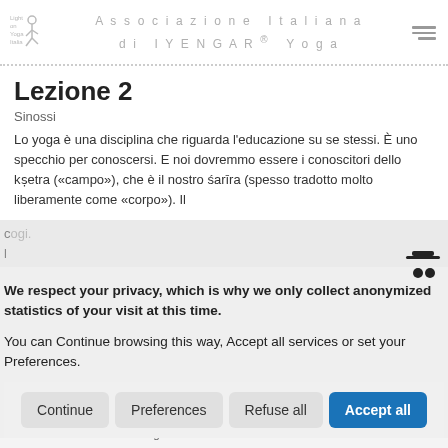Associazione Italiana di IYENGAR® Yoga
Lezione 2
Sinossi
Lo yoga è una disciplina che riguarda l'educazione su se stessi. È uno specchio per conoscersi. E noi dovremmo essere i conoscitori dello kṣetra («campo»), che è il nostro śarīra (spesso tradotto molto liberamente come «corpo»). Il
[Figure (infographic): Cookie consent overlay dialog with privacy message, anonymized statistics notice, and four buttons: Continue, Preferences, Refuse all, Accept all]
seminari ed eventi organizzati dall'associazione e dalle scuole affiliate